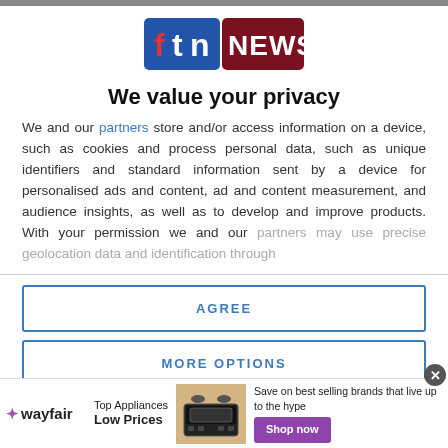[Figure (logo): FTN NEWS logo — blue box with 'ftn' in red/white, dark red box with 'NEWS' in white]
We value your privacy
We and our partners store and/or access information on a device, such as cookies and process personal data, such as unique identifiers and standard information sent by a device for personalised ads and content, ad and content measurement, and audience insights, as well as to develop and improve products. With your permission we and our partners may use precise geolocation data and identification through
AGREE
MORE OPTIONS
[Figure (illustration): Wayfair advertisement banner: Top Appliances Low Prices, image of stove/range, Save on best selling brands that live up to the hype, Shop now button]